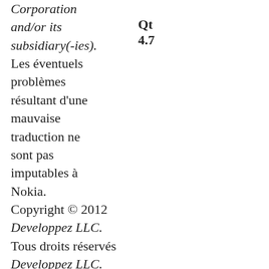Corporation and/or its subsidiary(-ies). Les éventuels problèmes résultant d'une mauvaise traduction ne sont pas imputables à Nokia. Copyright © 2012 Developpez LLC. Tous droits réservés Developpez LLC. Aucune reproduction, même partielle, ne peut être faite de ce site et de l'ensemble de son contenu : textes, documents et images sans l'autorisation expresse de
Qt 4.7